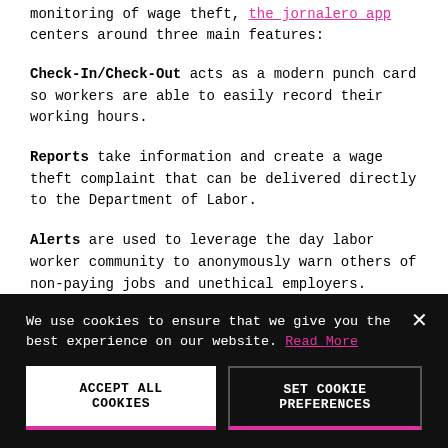monitoring of wage theft, the jornalero app centers around three main features:
Check-In/Check-Out acts as a modern punch card so workers are able to easily record their working hours.
Reports take information and create a wage theft complaint that can be delivered directly to the Department of Labor.
Alerts are used to leverage the day labor worker community to anonymously warn others of non-paying jobs and unethical employers.
We use cookies to ensure that we give you the best experience on our website. Read More
ACCEPT ALL COOKIES | SET COOKIE PREFERENCES